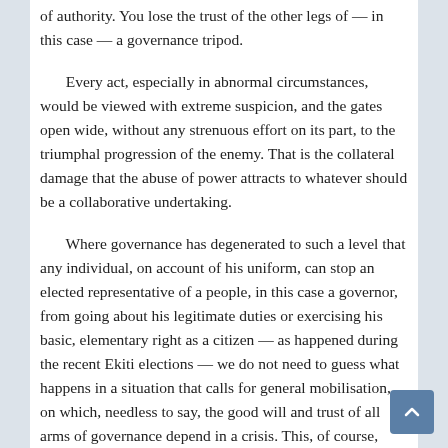of authority. You lose the trust of the other legs of — in this case — a governance tripod.
Every act, especially in abnormal circumstances, would be viewed with extreme suspicion, and the gates open wide, without any strenuous effort on its part, to the triumphal progression of the enemy. That is the collateral damage that the abuse of power attracts to whatever should be a collaborative undertaking.
Where governance has degenerated to such a level that any individual, on account of his uniform, can stop an elected representative of a people, in this case a governor, from going about his legitimate duties or exercising his basic, elementary right as a citizen — as happened during the recent Ekiti elections — we do not need to guess what happens in a situation that calls for general mobilisation, on which, needless to say, the good will and trust of all arms of governance depend in a crisis. This, of course, requires the